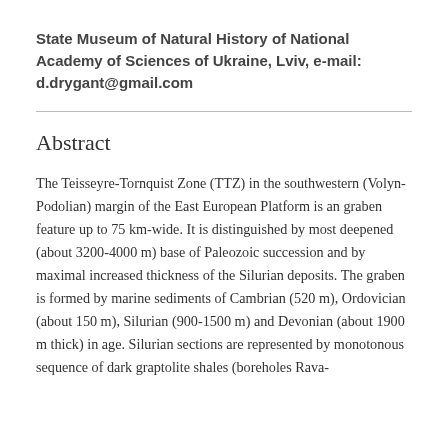State Museum of Natural History of National Academy of Sciences of Ukraine, Lviv, e-mail: d.drygant@gmail.com
Abstract
The Teisseyre-Tornquist Zone (TTZ) in the southwestern (Volyn-Podolian) margin of the East European Platform is an graben feature up to 75 km-wide. It is distinguished by most deepened (about 3200-4000 m) base of Paleozoic succession and by maximal increased thickness of the Silurian deposits. The graben is formed by marine sediments of Cambrian (520 m), Ordovician (about 150 m), Silurian (900-1500 m) and Devonian (about 1900 m thick) in age. Silurian sections are represented by monotonous sequence of dark graptolite shales (boreholes Rava-